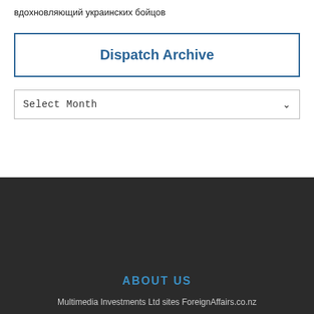вдохновляющий украинских бойцов
Dispatch Archive
Select Month
ABOUT US
Multimedia Investments Ltd sites ForeignAffairs.co.nz